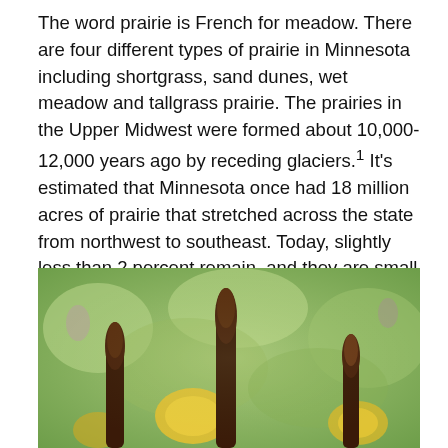The word prairie is French for meadow. There are four different types of prairie in Minnesota including shortgrass, sand dunes, wet meadow and tallgrass prairie. The prairies in the Upper Midwest were formed about 10,000-12,000 years ago by receding glaciers.¹ It's estimated that Minnesota once had 18 million acres of prairie that stretched across the state from northwest to southeast. Today, slightly less than 2 percent remain, and they are small pieces that weren't plowable. All of the other acres were replaced with crops.²
[Figure (photo): Close-up photograph of prairie plants with dark brown elongated seed heads (likely prairie coneflowers or similar) against a blurred green background with yellow wildflowers visible.]